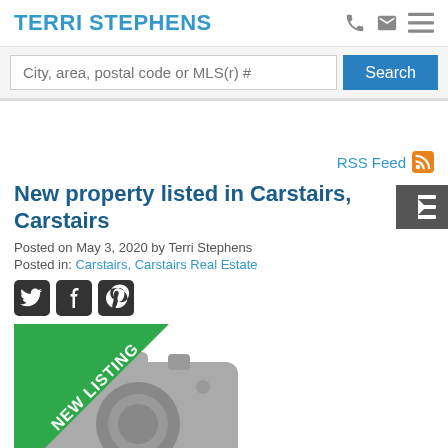TERRI STEPHENS
City, area, postal code or MLS(r) #
Search
RSS Feed
New property listed in Carstairs, Carstairs
Posted on May 3, 2020 by Terri Stephens
Posted in: Carstairs, Carstairs Real Estate
[Figure (photo): New listing placeholder image with camera icon and green 'NEW LISTING' ribbon banner]